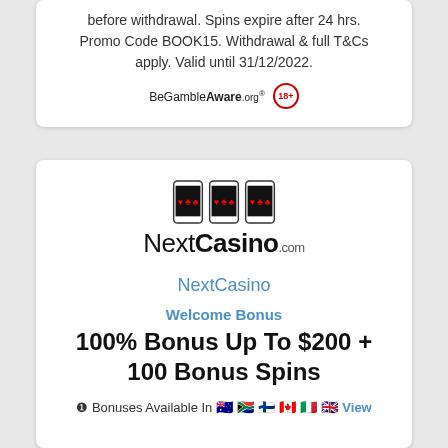before withdrawal. Spins expire after 24 hrs. Promo Code BOOK15. Withdrawal & full T&Cs apply. Valid until 31/12/2022.
[Figure (logo): BeGambleAware.org logo and 18+ age restriction circle icon]
[Figure (logo): NextCasino logo with three slot machine phone icons above text NextCasino.com]
NextCasino
Welcome Bonus
100% Bonus Up To $200 + 100 Bonus Spins
❶ Bonuses Available In 🇦🇺 🇿🇦 🇫🇮 🇨🇦 🇮🇹 🇬🇧 View